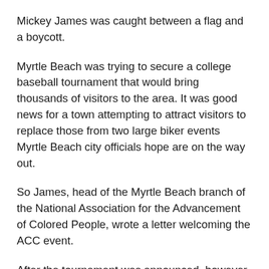Mickey James was caught between a flag and a boycott.
Myrtle Beach was trying to secure a college baseball tournament that would bring thousands of visitors to the area. It was good news for a town attempting to attract visitors to replace those from two large biker events Myrtle Beach city officials hope are on the way out.
So James, head of the Myrtle Beach branch of the National Association for the Advancement of Colored People, wrote a letter welcoming the ACC event.
After the tournament was announced, however, the state NAACP passed a resolution condemning the ACC for breaking an economic boycott in place against the state since 2001, a boycott prompted by the Confederate flag's presence on Statehouse grounds. The National Collegiate Athletic Association has said it would honor